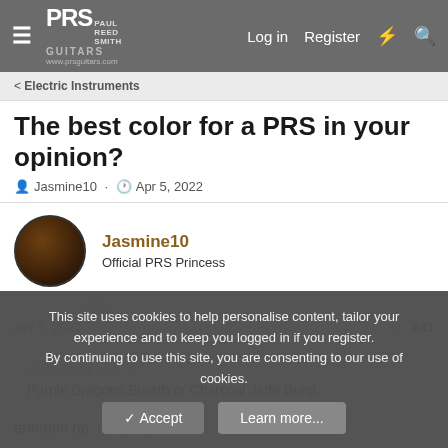PRS Paul Reed Smith Guitars - www.prsguitars.com | Log in  Register
Electric Instruments
The best color for a PRS in your opinion?
Jasmine10 · Apr 5, 2022
Jasmine10
Official PRS Princess
Apr 5, 2022  #41
Birdsofprey said: ⊕
Purple Dragons Breath or Charcoal Jade Burst.
ehmmm no. not purple
This site uses cookies to help personalise content, tailor your experience and to keep you logged in if you register.
By continuing to use this site, you are consenting to our use of cookies.